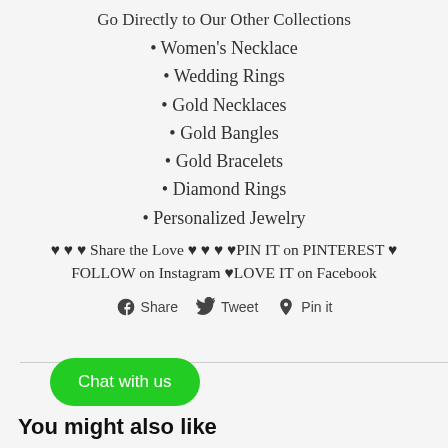Go Directly to Our Other Collections
• Women's Necklace
• Wedding Rings
• Gold Necklaces
• Gold Bangles
• Gold Bracelets
• Diamond Rings
• Personalized Jewelry
♥ ♥ ♥ Share the Love ♥ ♥ ♥ ♥PIN IT on PINTEREST ♥ FOLLOW on Instagram ♥LOVE IT on Facebook
[Figure (infographic): Social sharing buttons: Facebook Share, Twitter Tweet, Pinterest Pin it]
[Figure (other): Green chat button: Chat with us]
You might also like